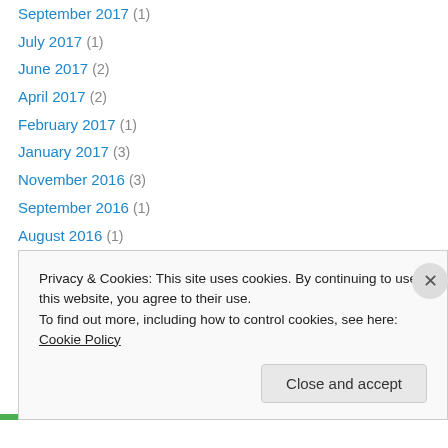September 2017 (1)
July 2017 (1)
June 2017 (2)
April 2017 (2)
February 2017 (1)
January 2017 (3)
November 2016 (3)
September 2016 (1)
August 2016 (1)
July 2016 (2)
May 2016 (4)
March 2016 (4)
February 2016 (1)
Privacy & Cookies: This site uses cookies. By continuing to use this website, you agree to their use.
To find out more, including how to control cookies, see here: Cookie Policy